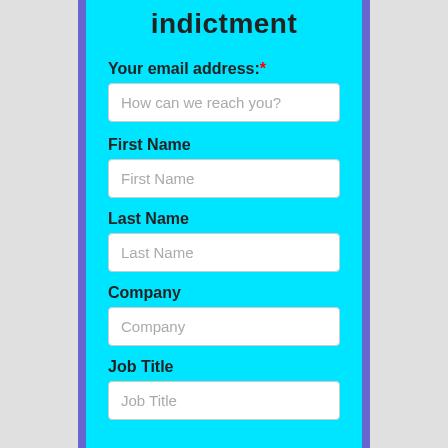indictment
Your email address:*
How can we reach you?
First Name
First Name
Last Name
Last Name
Company
Company
Job Title
Job Title